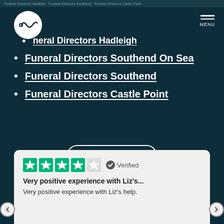Funeral Directors Hadleigh
Funeral Directors Hadleigh
Funeral Directors Southend On Sea
Funeral Directors Southend
Funeral Directors Castle Point
SEE MORE
[Figure (other): Trustpilot 4-star rating with Verified badge, review title 'Very positive experience with Liz's...', review text 'Very positive experience with Liz's help.']